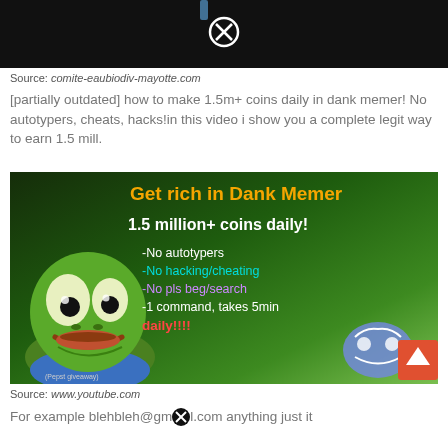[Figure (screenshot): Dark video thumbnail with a close/X button overlay at the top of the page]
Source: comite-eaubiodiv-mayotte.com
[partially outdated] how to make 1.5m+ coins daily in dank memer! No autotypers, cheats, hacks!in this video i show you a complete legit way to earn 1.5 mill.
[Figure (screenshot): Thumbnail image: 'Get rich in Dank Memer - 1.5 million+ coins daily!' with Pepe the frog and Discord logo, listing No autotypers, No hacking/cheating, No pls beg/search, -1 command takes 5min daily!!!!]
Source: www.youtube.com
For example blehbleh@gmail.com anything just it